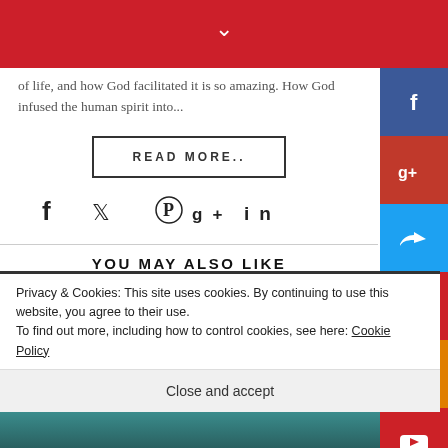of life, and how God facilitated it is so amazing. How God infused the human spirit into...
READ MORE..
[Figure (infographic): Social media share icons row: Facebook, Twitter, Pinterest, Google+, LinkedIn]
YOU MAY ALSO LIKE
Privacy & Cookies: This site uses cookies. By continuing to use this website, you agree to their use. To find out more, including how to control cookies, see here: Cookie Policy
Close and accept
[Figure (infographic): Social media sidebar buttons: Facebook, Google+, Twitter, Pinterest, Blogger, YouTube, More (...)]